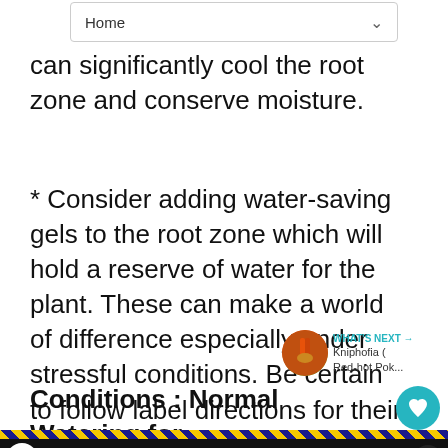Home
can significantly cool the root zone and conserve moisture.
* Consider adding water-saving gels to the root zone which will hold a reserve of water for the plant. These can make a world of difference especially under stressful conditions. Be certain to follow label directions for their use.
Conditions : Normal Watering for Plants
[Figure (screenshot): WHAT'S NEXT arrow label with thumbnail of Kniphofia (Red-hot Pok...)]
[Figure (screenshot): Universal Orlando Resort advertisement banner with TESTING text overlay]
No